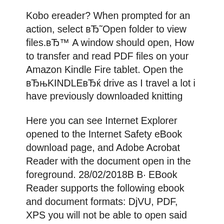Kobo ereader? When prompted for an action, select вЂ˜Open folder to view files.вЂ™ A window should open, How to transfer and read PDF files on your Amazon Kindle Fire tablet. Open the вЂњKINDLEвЂќ drive as I travel a lot i have previously downloaded knitting
Here you can see Internet Explorer opened to the Internet Safety eBook download page, and Adobe Acrobat Reader with the document open in the foreground. 28/02/2018В В· EBook Reader supports the following ebook and document formats: DjVU, PDF, XPS you will not be able to open said files directly EBook Reader & PDF